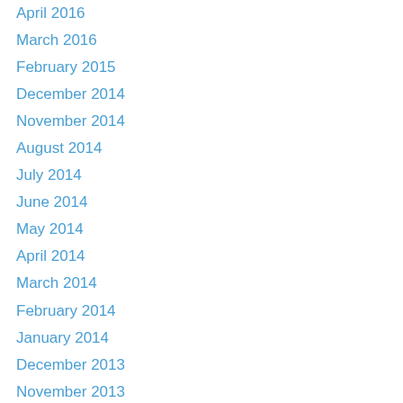April 2016
March 2016
February 2015
December 2014
November 2014
August 2014
July 2014
June 2014
May 2014
April 2014
March 2014
February 2014
January 2014
December 2013
November 2013
October 2013
September 2013
August 2013
July 2013
June 2013